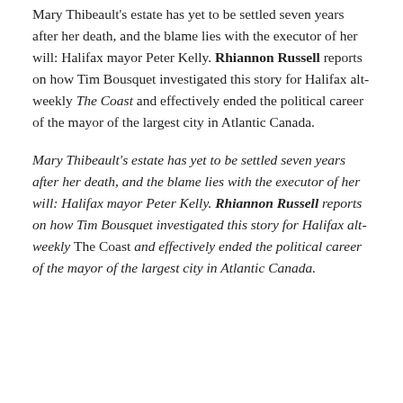Mary Thibeault's estate has yet to be settled seven years after her death, and the blame lies with the executor of her will: Halifax mayor Peter Kelly. Rhiannon Russell reports on how Tim Bousquet investigated this story for Halifax alt-weekly The Coast and effectively ended the political career of the mayor of the largest city in Atlantic Canada.
Mary Thibeault's estate has yet to be settled seven years after her death, and the blame lies with the executor of her will: Halifax mayor Peter Kelly. Rhiannon Russell reports on how Tim Bousquet investigated this story for Halifax alt-weekly The Coast and effectively ended the political career of the mayor of the largest city in Atlantic Canada.